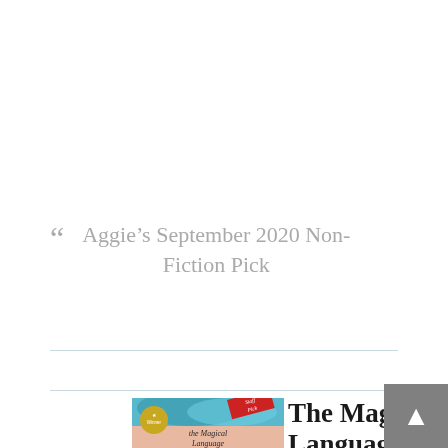“  Aggie’s September 2020 Non-Fiction Pick
[Figure (illustration): Book cover for 'the Magical Language' with ocean wave imagery, a gold Winner badge, and a red Staff Pick ribbon]
The Magical Language of Others: A